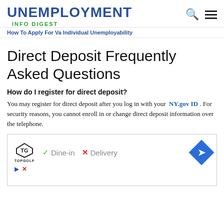UNEMPLOYMENT INFO DIGEST
How To Apply For Va Individual Unemployability
Direct Deposit Frequently Asked Questions
How do I register for direct deposit?
You may register for direct deposit after you log in with your NY.gov ID . For security reasons, you cannot enroll in or change direct deposit information over the telephone.
[Figure (other): Advertisement for Topgolf showing logo, Dine-in and Delivery options with checkmark and X indicators, and a navigation diamond icon]